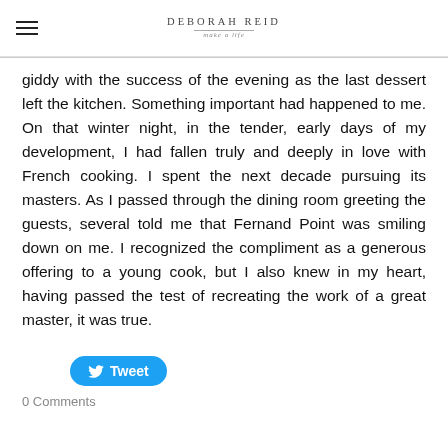DEBORAH REID
giddy with the success of the evening as the last dessert left the kitchen. Something important had happened to me. On that winter night, in the tender, early days of my development, I had fallen truly and deeply in love with French cooking. I spent the next decade pursuing its masters. As I passed through the dining room greeting the guests, several told me that Fernand Point was smiling down on me. I recognized the compliment as a generous offering to a young cook, but I also knew in my heart, having passed the test of recreating the work of a great master, it was true.
[Figure (other): Tweet button]
0 Comments